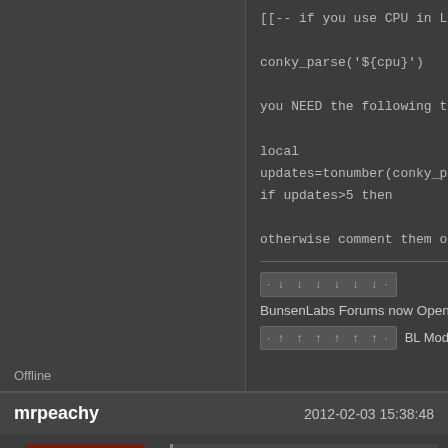[[-- if you use CPU in LUA like this:

conky_parse('${cpu}')

you NEED the following tow lines:

local
updates=tonumber(conky_parse('${updates}'))
if updates>5 then

otherwise comment them out ]]
[Figure (other): Vote down arrow bar widget]
BunsenLabs Forums now Open for Registration
[Figure (other): Vote up arrow bar widget]
BL ModSquad
Offline
mrpeachy
2012-02-03 15:38:48
[Figure (photo): Avatar image of a red/orange apple-like fruit]
Sector11 wrote:
I thought you were talking in 'conky' if